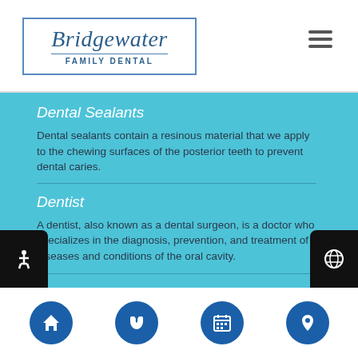Bridgewater Family Dental
Dental Sealants
Dental sealants contain a resinous material that we apply to the chewing surfaces of the posterior teeth to prevent dental caries.
Dentist
A dentist, also known as a dental surgeon, is a doctor who specializes in the diagnosis, prevention, and treatment of diseases and conditions of the oral cavity.